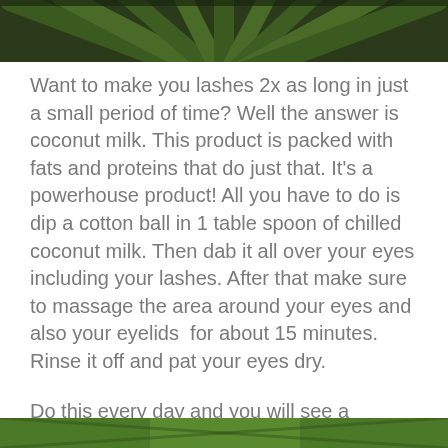[Figure (photo): Close-up photograph of dark green palm or tropical plant leaves fanning outward, partially cropped at top of page.]
Want to make you lashes 2x as long in just a small period of time? Well the answer is coconut milk. This product is packed with fats and proteins that do just that. It's a powerhouse product! All you have to do is dip a cotton ball in 1 table spoon of chilled coconut milk. Then dab it all over your eyes including your lashes. After that make sure to massage the area around your eyes and also your eyelids  for about 15 minutes. Rinse it off and pat your eyes dry.
Do this every day and you will see a difference in no time. It's a simple effective home remedy that helps promote eyelash growth.
[Figure (photo): Partial photograph of green tropical plants or leaves, cropped at bottom of page.]